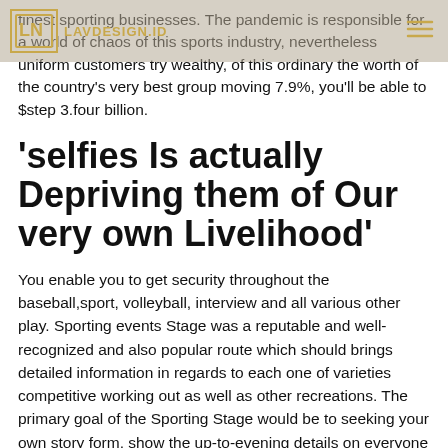LAVDESIGN.ID
finest sporting businesses. The pandemic is responsible for a world of chaos of this sports industry, nevertheless uniform customers try wealthy, of this ordinary the worth of the country's very best group moving 7.9%, you'll be able to $step 3.four billion.
‘selfies Is actually Depriving them of Our very own Livelihood’
You enable you to get security throughout the baseball,sport, volleyball, interview and all various other play. Sporting events Stage was a reputable and well-recognized and also popular route which should brings detailed information in regards to each one of varieties competitive working out as well as other recreations. The primary goal of the Sporting Stage would be to seeking your own story form, show the up-to-evening details on everyone of exercise of the day.